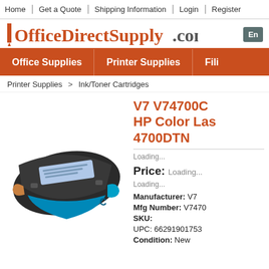Home | Get a Quote | Shipping Information | Login | Register
[Figure (logo): OfficeDirectSupply.com logo with pin/tack icon in red-orange, and a search box partially visible on the right]
Office Supplies | Printer Supplies | Fili...
Printer Supplies > Ink/Toner Cartridges
V7 V74700C HP Color Las... 4700DTN
Loading...
Price: Loading...
Loading...
Manufacturer: V7
Mfg Number: V7470...
SKU:
UPC: 66291901753...
Condition: New
[Figure (photo): Cyan toner cartridge (HP compatible, V7 brand) shown at an angle, black body with cyan/blue accents]